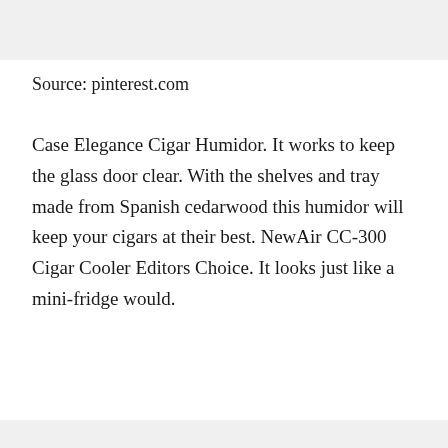Source: pinterest.com
Case Elegance Cigar Humidor. It works to keep the glass door clear. With the shelves and tray made from Spanish cedarwood this humidor will keep your cigars at their best. NewAir CC-300 Cigar Cooler Editors Choice. It looks just like a mini-fridge would.